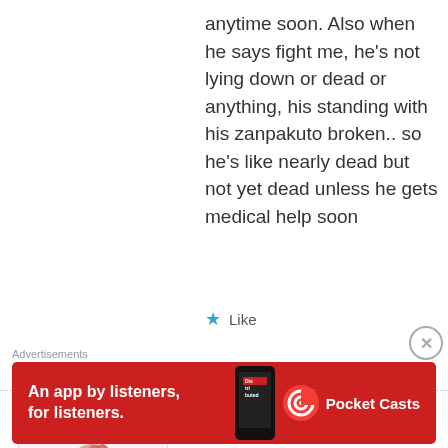anytime soon. Also when he says fight me, he's not lying down or dead or anything, his standing with his zanpakuto broken.. so he's like nearly dead but not yet dead unless he gets medical help soon
Like
Ryan
July 25, 2012 at 12:47 pm
i think kenpachi will die here..think about it, hes facing the leader no way hes going to win, AND hes always talking about an “honorable death”. I think Kubo will finally give him one. As for
Advertisements
[Figure (screenshot): Advertisement banner for Pocket Casts app: red background with white text 'An app by listeners, for listeners.' and Pocket Casts logo with phone graphic]